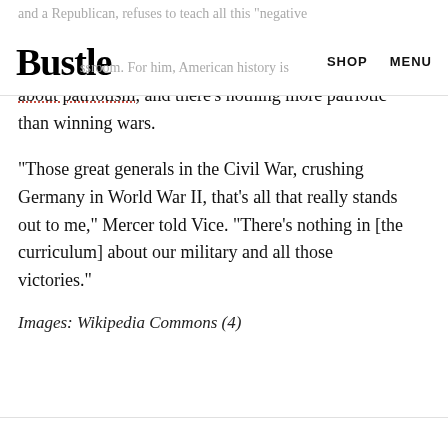Bustle   SHOP   MENU
and a Republican, refuses to teach all this "negative ... ssroom. For him, American history is about patriotism, and there's nothing more patriotic than winning wars.
"Those great generals in the Civil War, crushing Germany in World War II, that's all that really stands out to me," Mercer told Vice. "There's nothing in [the curriculum] about our military and all those victories."
Images: Wikipedia Commons (4)